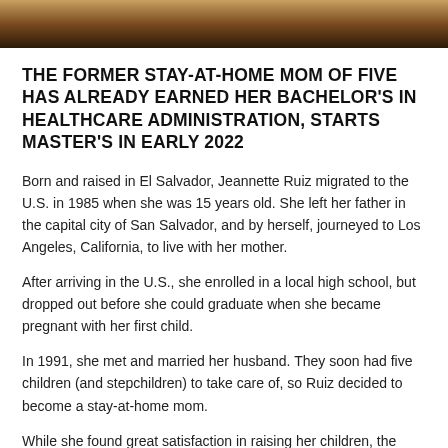[Figure (photo): Top strip showing a dark, warm-toned photograph — partial image of a person or scene with orange/brown tones, cropped at top of page]
THE FORMER STAY-AT-HOME MOM OF FIVE HAS ALREADY EARNED HER BACHELOR'S IN HEALTHCARE ADMINISTRATION, STARTS MASTER'S IN EARLY 2022
Born and raised in El Salvador, Jeannette Ruiz migrated to the U.S. in 1985 when she was 15 years old. She left her father in the capital city of San Salvador, and by herself, journeyed to Los Angeles, California, to live with her mother.
After arriving in the U.S., she enrolled in a local high school, but dropped out before she could graduate when she became pregnant with her first child.
In 1991, she met and married her husband. They soon had five children (and stepchildren) to take care of, so Ruiz decided to become a stay-at-home mom.
While she found great satisfaction in raising her children, the desire to go back to school and graduate with her diploma never left. And with her children growing up and having children of their own, Ruiz decided it was time to reinitiate herself in…